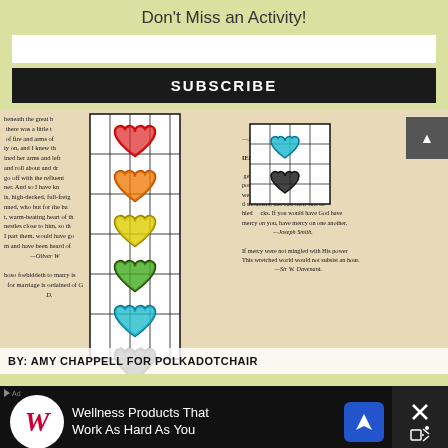Don't Miss an Activity!
SUBSCRIBE
[Figure (photo): Photo of colorful heart-shaped bookmarks on a grid-patterned white background, placed on top of an open book with printed text. The bookmarks show hearts in red, orange, yellow, green, teal, and dark/black colors. A second small bookmark with dark hearts is partially visible to the right.]
BY: AMY CHAPPELL FOR POLKADOTCHAIR
[Figure (photo): Advertisement banner: Walgreens logo on dark background with text 'Wellness Products That Work As Hard As You', a blue navigation icon, and a close button with X and speaker icons.]